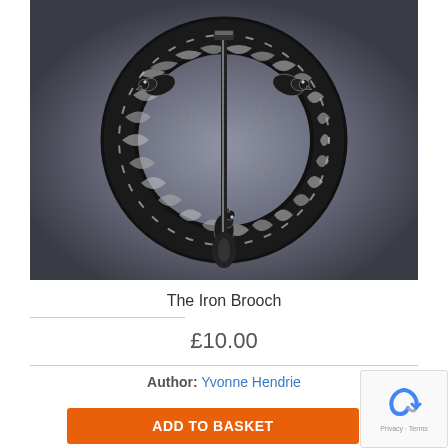[Figure (photo): Black and white photograph of an ornate iron brooch in the shape of a circular wreath with birds and leaf/floral motifs, shown against a grey blurred background.]
The Iron Brooch
£10.00
Author: Yvonne Hendrie